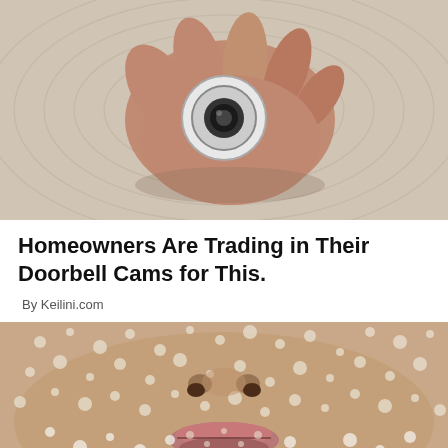[Figure (photo): A hand holding a small round white smart home camera device against a woven white textured background, viewed from above.]
Homeowners Are Trading in Their Doorbell Cams for This.
By Keilini.com
[Figure (photo): Close-up of a person's face covered in coarse salt or sugar crystals as a skin scrub or facial treatment, showing nose and lips prominently.]